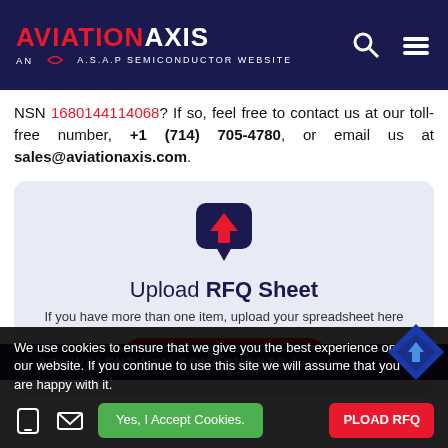AVIATION AXIS - AN A.S.A.P SEMICONDUCTOR WEBSITE
NSN 1680144114068? If so, feel free to contact us at our toll-free number, +1 (714) 705-4780, or email us at sales@aviationaxis.com.
[Figure (infographic): Upload RFQ Sheet card with upload arrow icon, text 'Upload RFQ Sheet', subtitle 'If you have more than one item, upload your spreadsheet here', and red 'UPLOAD FILE' button]
EQUIVALENT NSN COMPONENTS for
We use cookies to ensure that we give you the best experience on our website. If you continue to use this site we will assume that you are happy with it.
Yes, I Accept Cookies.